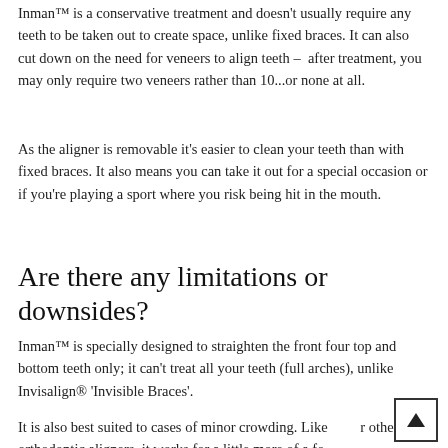Inman™ is a conservative treatment and doesn't usually require any teeth to be taken out to create space, unlike fixed braces. It can also cut down on the need for veneers to align teeth – after treatment, you may only require two veneers rather than 10...or none at all.
As the aligner is removable it's easier to clean your teeth than with fixed braces. It also means you can take it out for a special occasion or if you're playing a sport where you risk being hit in the mouth.
Are there any limitations or downsides?
Inman™ is specially designed to straighten the front four top and bottom teeth only; it can't treat all your teeth (full arches), unlike Invisalign® 'Invisible Braces'.
It is also best suited to cases of minor crowding. Like other orthodontic aligners, it works best with little more of a...